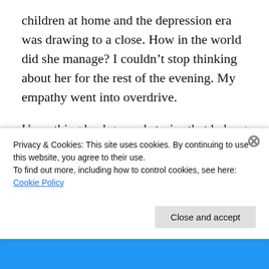children at home and the depression era was drawing to a close. How in the world did she manage? I couldn't stop thinking about her for the rest of the evening. My empathy went into overdrive.
Unearthing background stories that belong to old photos makes me hungry to know more. I love how printing these pictures and telling the stories in my book takes away some of their obscurity.
Some information is forever lost, though. I can't help
Privacy & Cookies: This site uses cookies. By continuing to use this website, you agree to their use.
To find out more, including how to control cookies, see here: Cookie Policy
Close and accept